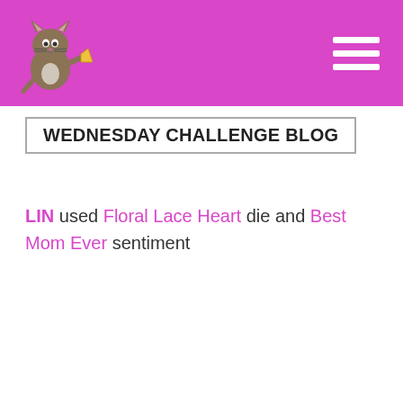WEDNESDAY CHALLENGE BLOG — site header with logo and hamburger menu
WEDNESDAY CHALLENGE BLOG
LIN used Floral Lace Heart die and Best Mom Ever sentiment